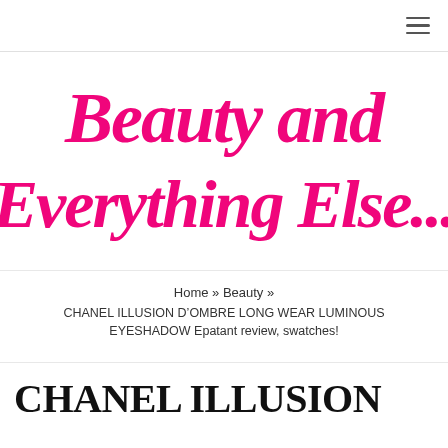≡ (navigation menu icon)
[Figure (logo): Blog logo reading 'Beauty and Everything Else...' in large hot pink italic script font]
Home » Beauty » CHANEL ILLUSION D'OMBRE LONG WEAR LUMINOUS EYESHADOW Epatant review, swatches!
CHANEL ILLUSION